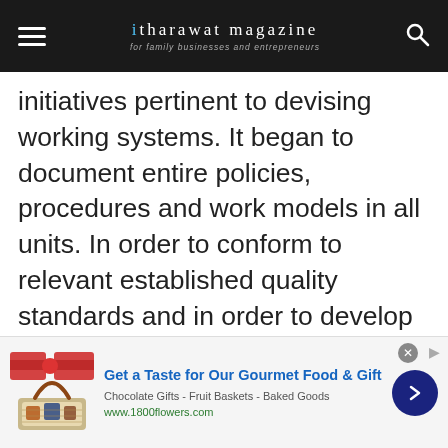itharawat magazine - for family businesses and entrepreneurs
initiatives pertinent to devising working systems. It began to document entire policies, procedures and work models in all units. In order to conform to relevant established quality standards and in order to develop and make good use of such systems, they had to be assisted with technology and information systems. To achieve this, the group soon acquired the Enterprise Resources Planning System (ERP) aiming to support the planning of resources, collecting and storing data in one
[Figure (infographic): Advertisement banner: Get a Taste for Our Gourmet Food & Gift. Chocolate Gifts - Fruit Baskets - Baked Goods. www.1800flowers.com. Shows a gift basket image on the left and a blue arrow button on the right.]